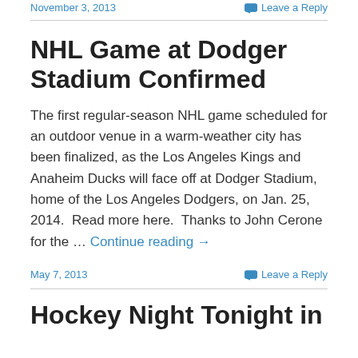November 3, 2013   Leave a Reply
NHL Game at Dodger Stadium Confirmed
The first regular-season NHL game scheduled for an outdoor venue in a warm-weather city has been finalized, as the Los Angeles Kings and Anaheim Ducks will face off at Dodger Stadium, home of the Los Angeles Dodgers, on Jan. 25, 2014.  Read more here.  Thanks to John Cerone for the … Continue reading →
May 7, 2013   Leave a Reply
Hockey Night Tonight in